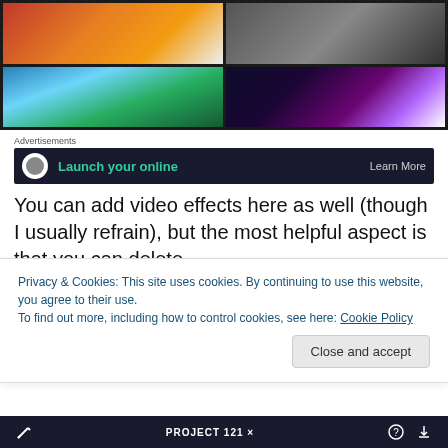[Figure (screenshot): 2x2 grid of video thumbnails: top-left concert/musicians with warm colors, top-right black and white person with camera, bottom-left nature/trees with blue sky, bottom-right purple/white light show]
Advertisements
[Figure (screenshot): Advertisement banner with dark background showing 'Launch your online' in teal text and 'Learn More' button on right]
You can add video effects here as well (though I usually refrain), but the most helpful aspect is that you can delete
Privacy & Cookies: This site uses cookies. By continuing to use this website, you agree to their use.
To find out more, including how to control cookies, see here: Cookie Policy
Close and accept
PROJECT 121 ×